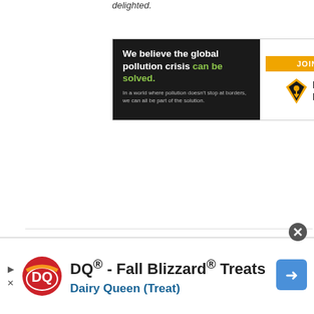delighted.
[Figure (infographic): Pure Earth advertisement banner. Left side has black background with text 'We believe the global pollution crisis can be solved.' in white and green, and subtext 'In a world where pollution doesn't stop at borders, we can all be part of the solution.' Right side has white background with orange 'JOIN US.' button and Pure Earth logo with diamond shape icon.]
Mandie Walvoord says:
[Figure (infographic): Dairy Queen advertisement banner at bottom of page: 'DQ® - Fall Blizzard® Treats' and 'Dairy Queen (Treat)' with DQ logo and navigation arrow icon.]